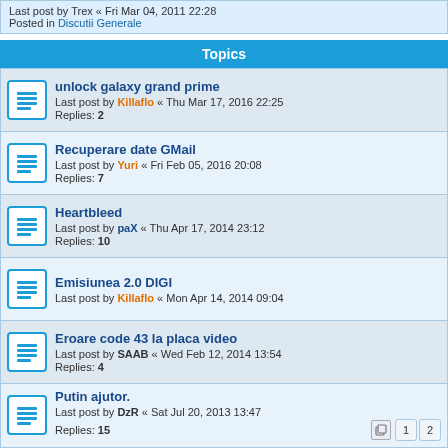Last post by Trex « Fri Mar 04, 2011 22:28
Posted in Discutii Generale
Topics
unlock galaxy grand prime
Last post by Killaflo « Thu Mar 17, 2016 22:25
Replies: 2
Recuperare date GMail
Last post by Yuri « Fri Feb 05, 2016 20:08
Replies: 7
Heartbleed
Last post by paX « Thu Apr 17, 2014 23:12
Replies: 10
Emisiunea 2.0 DIGI
Last post by Killaflo « Mon Apr 14, 2014 09:04
Eroare code 43 la placa video
Last post by SAAB « Wed Feb 12, 2014 13:54
Replies: 4
Putin ajutor.
Last post by DzR « Sat Jul 20, 2013 13:47
Replies: 15
6 topics • Page 1 of 1
Jump to